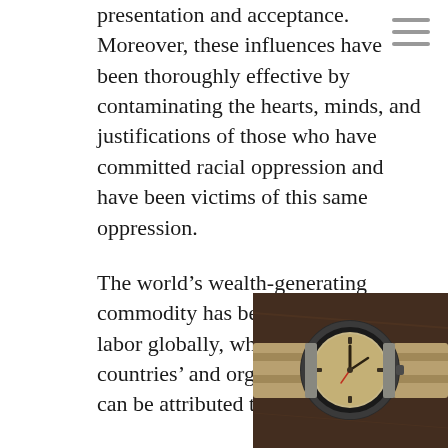presentation and acceptance. Moreover, these influences have been thoroughly effective by contaminating the hearts, minds, and justifications of those who have committed racial oppression and have been victims of this same oppression.
The world's wealth-generating commodity has been Black slave labor globally, whereby many countries' and organizations' wealth can be attributed to black suffering.
The damage from legally sanctioned racial discrimination and suppression of education along with the lack of quality of that education, can never be understated, exaggerated, or casually dismissed. It was
[Figure (photo): A vintage military-style wristwatch with a dark dial and tan/khaki NATO strap, photographed on a dark brown wooden surface.]